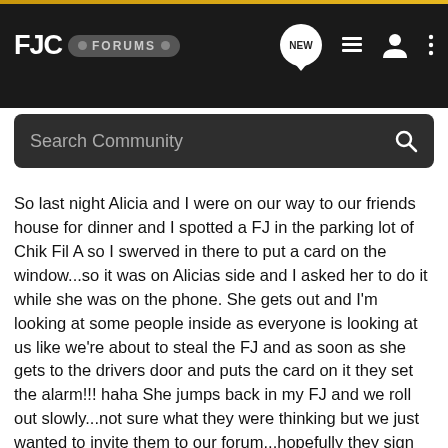FJC FORUMS
Search Community
So last night Alicia and I were on our way to our friends house for dinner and I spotted a FJ in the parking lot of Chik Fil A so I swerved in there to put a card on the window...so it was on Alicias side and I asked her to do it while she was on the phone. She gets out and I'm looking at some people inside as everyone is looking at us like we're about to steal the FJ and as soon as she gets to the drivers door and puts the card on it they set the alarm!!! haha She jumps back in my FJ and we roll out slowly...not sure what they were thinking but we just wanted to invite them to our forum...hopefully they sign up and get to know us and know that this is all in good fun and FJ loving spirit!! haha Just thought for you guys up in LA area or SD that Matt should have realeased a warning label on them for ya...you know something like this..."Warning, while puting this card on FJ's you may encounter disgruntled people